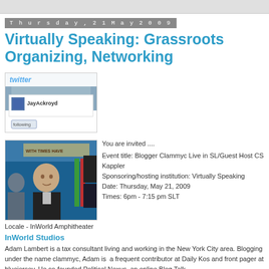Thursday, 21 May 2009
Virtually Speaking: Grassroots Organizing, Networking
[Figure (screenshot): Twitter profile screenshot showing JayAckroyd with twitter logo and following button]
[Figure (photo): Photo of a bald man in a virtual world setting with blue/green background and signs]
You are invited ....
Event title: Blogger Clammyc Live in SL/Guest Host CS Kappler
Sponsoring/hosting institution: Virtually Speaking
Date: Thursday, May 21, 2009
Times: 6pm - 7:15 pm SLT
Locale  - InWorld Amphitheater
InWorld Studios
Adam Lambert is a tax consultant living and working in the New York City area. Blogging under the name clammyc, Adam is  a frequent contributor at Daily Kos and front pager at bluejersey. He co-founded Political Nexus, an online Blog Talk